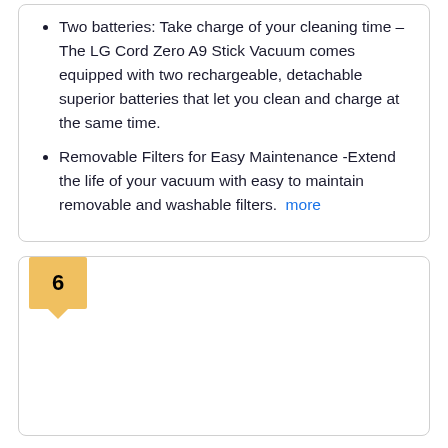Two batteries: Take charge of your cleaning time – The LG Cord Zero A9 Stick Vacuum comes equipped with two rechargeable, detachable superior batteries that let you clean and charge at the same time.
Removable Filters for Easy Maintenance -Extend the life of your vacuum with easy to maintain removable and washable filters.  more
6